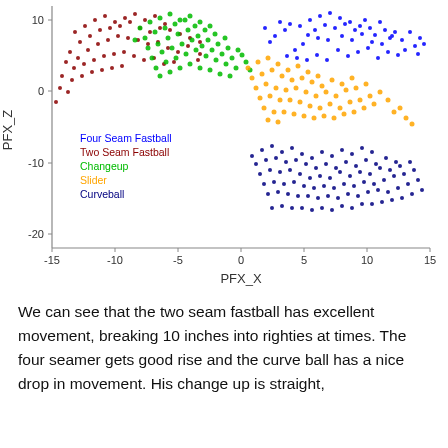[Figure (continuous-plot): Scatter plot of PFX_X (x-axis, range -15 to 15) vs PFX_Z (y-axis, range -20 to ~12) showing five pitch types as colored dot clusters: Four Seam Fastball (blue, upper right), Two Seam Fastball (dark red/maroon, upper left), Changeup (green, center-left), Slider (orange, center-right), Curveball (dark navy, lower right). Legend in lower left.]
We can see that the two seam fastball has excellent movement, breaking 10 inches into righties at times. The four seamer gets good rise and the curve ball has a nice drop in movement. His change up is straight,